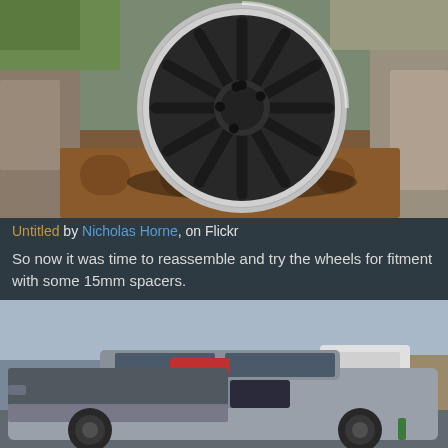[Figure (photo): Close-up photo of a silver multi-spoke alloy wheel rim placed on a rusty metal surface with concrete/stone blocks in the background and green grass visible.]
Untitled by Nicholas Horne, on Flickr
So now it was time to reassemble and try the wheels for fitment with some 15mm spacers.
[Figure (photo): Photo of a silver/grey small car (hatchback) with the hood/bonnet removed, showing the engine bay, parked in a driveway or lot with other vehicles and a fence visible in the background.]